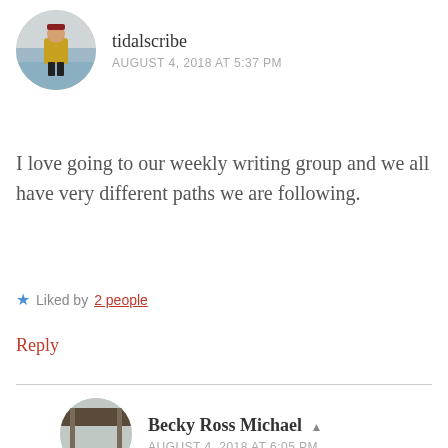tidalscribe
AUGUST 4, 2018 AT 5:37 PM
I love going to our weekly writing group and we all have very different paths we are following.
Liked by 2 people
Reply
Becky Ross Michael
AUGUST 4, 2018 AT 6:05 PM
I'm glad that you've found a group that works well for you!